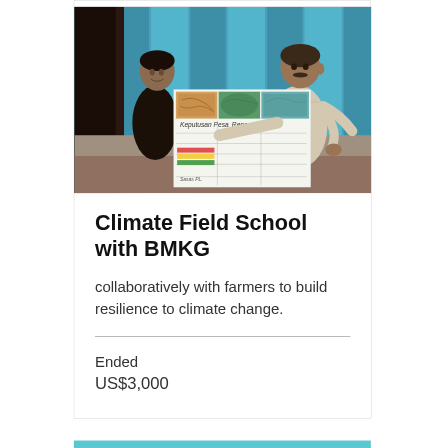[Figure (photo): Two men inside a structure with blue walls. One man on the right is holding up a large chart/poster with maps and handwritten text in Indonesian. The other man stands to the left watching.]
Climate Field School with BMKG
collaboratively with farmers to build resilience to climate change.
Ended
US$3,000